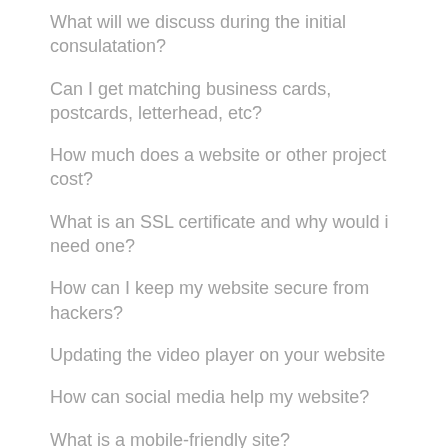What will we discuss during the initial consulatation?
Can I get matching business cards, postcards, letterhead, etc?
How much does a website or other project cost?
What is an SSL certificate and why would i need one?
How can I keep my website secure from hackers?
Updating the video player on your website
How can social media help my website?
What is a mobile-friendly site?